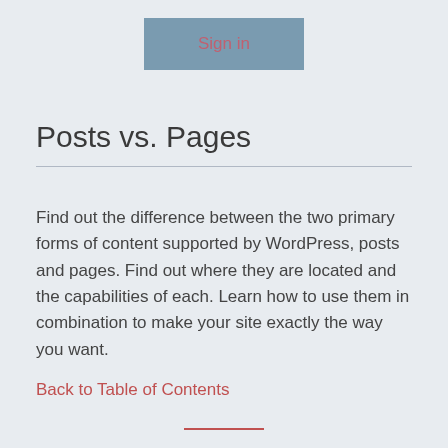[Figure (other): Sign in button with muted blue-gray background and red-pink text label 'Sign in']
Posts vs. Pages
Find out the difference between the two primary forms of content supported by WordPress, posts and pages. Find out where they are located and the capabilities of each. Learn how to use them in combination to make your site exactly the way you want.
Back to Table of Contents
You must have a current and valid license key from